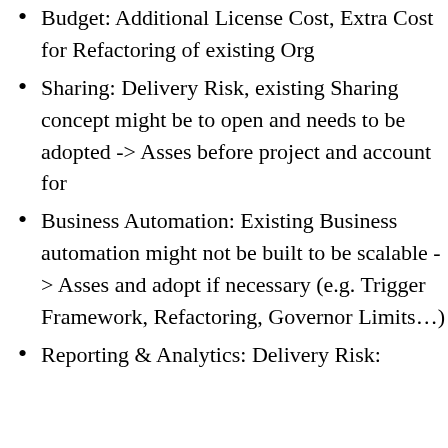Budget: Additional License Cost, Extra Cost for Refactoring of existing Org
Sharing: Delivery Risk, existing Sharing concept might be to open and needs to be adopted -> Asses before project and account for
Business Automation: Existing Business automation might not be built to be scalable -> Asses and adopt if necessary (e.g. Trigger Framework, Refactoring, Governor Limits…)
Reporting & Analytics: Delivery Risk: